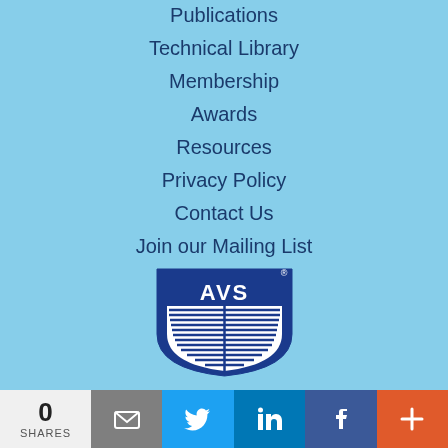Publications
Technical Library
Membership
Awards
Resources
Privacy Policy
Contact Us
Join our Mailing List
[Figure (logo): AVS logo — shield shape with horizontal lines and 'AVS' text at top]
AVS National Office (Headquarters)
125 Maiden Lane, 15B, 15th Floor, New York, NY 10038
0 SHARES | email | twitter | linkedin | facebook | +